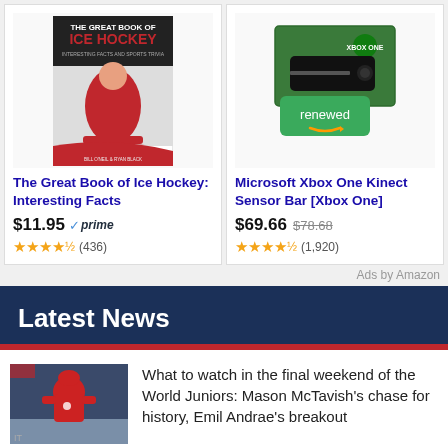[Figure (photo): Book cover: The Great Book of Ice Hockey - hockey player in red uniform on a white and red background]
The Great Book of Ice Hockey: Interesting Facts
$11.95 prime (436)
[Figure (photo): Microsoft Xbox One Kinect Sensor Bar product box in green with 'renewed' badge]
Microsoft Xbox One Kinect Sensor Bar [Xbox One]
$69.66 $78.68 (1,920)
Ads by Amazon
Latest News
[Figure (photo): Hockey player in Canadian red uniform on ice rink]
What to watch in the final weekend of the World Juniors: Mason McTavish's chase for history, Emil Andrae's breakout